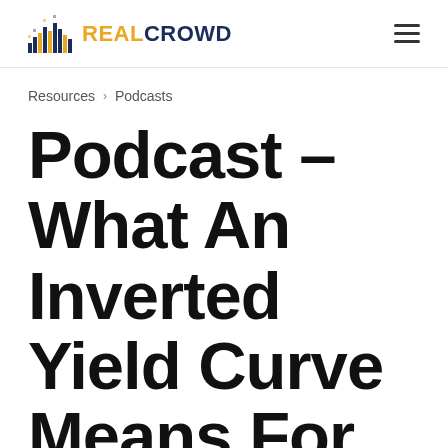[Figure (logo): RealCrowd logo with pixelated bar chart icon and text REALCROWD in gold and navy]
Resources > Podcasts
Podcast – What An Inverted Yield Curve Means For Real Estate With Jamie Woodwell